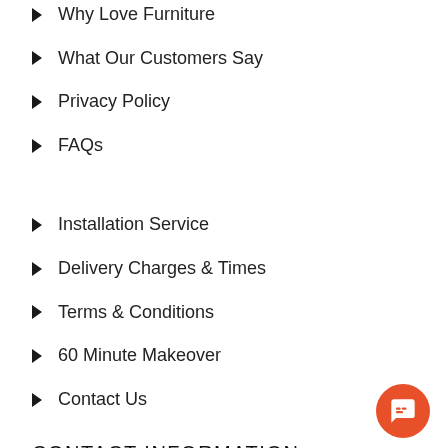Why Love Furniture
What Our Customers Say
Privacy Policy
FAQs
Installation Service
Delivery Charges & Times
Terms & Conditions
60 Minute Makeover
Contact Us
CONTACT INFORMATION